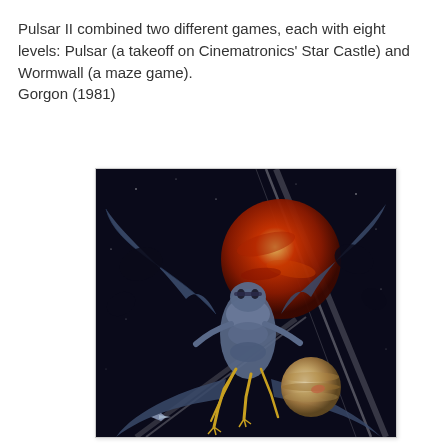Pulsar II combined two different games, each with eight levels: Pulsar (a takeoff on Cinematronics' Star Castle) and Wormwall (a maze game).
Gorgon (1981)
[Figure (illustration): Sci-fi fantasy illustration showing a robotic/alien dragon-like creature with large bat wings in outer space, with a red planet in the background and Jupiter-like planet in the lower right, and light beam streaks across the scene.]